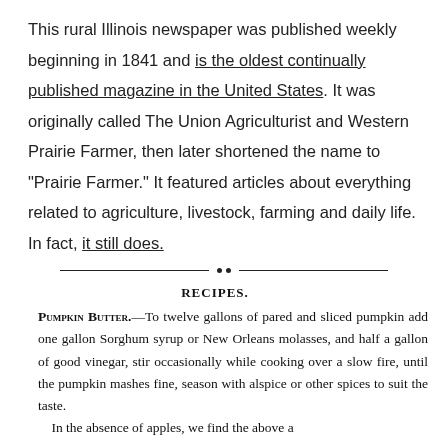This rural Illinois newspaper was published weekly beginning in 1841 and is the oldest continually published magazine in the United States. It was originally called The Union Agriculturist and Western Prairie Farmer, then later shortened the name to "Prairie Farmer." It featured articles about everything related to agriculture, livestock, farming and daily life. In fact, it still does.
RECIPES.
Pumpkin Butter.—To twelve gallons of pared and sliced pumpkin add one gallon Sorghum syrup or New Orleans molasses, and half a gallon of good vinegar, stir occasionally while cooking over a slow fire, until the pumpkin mashes fine, season with alspice or other spices to suit the taste.

In the absence of apples, we find the above a